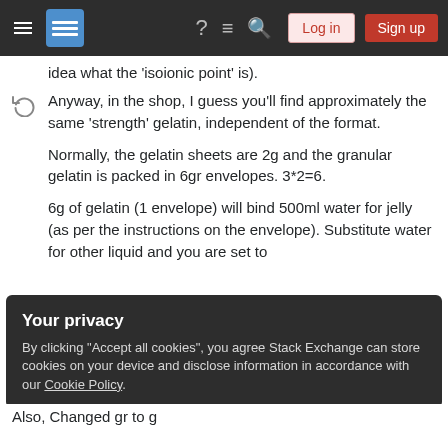Stack Exchange navigation bar with hamburger menu, logo, help, chat, search icons, Log in and Sign up buttons
idea what the 'isoionic point' is).
Anyway, in the shop, I guess you'll find approximately the same 'strength' gelatin, independent of the format.
Normally, the gelatin sheets are 2g and the granular gelatin is packed in 6gr envelopes. 3*2=6.
6g of gelatin (1 envelope) will bind 500ml water for jelly (as per the instructions on the envelope). Substitute water for other liquid and you are set to
Your privacy
By clicking "Accept all cookies", you agree Stack Exchange can store cookies on your device and disclose information in accordance with our Cookie Policy.
Also, Changed gr to g
Accept all cookies   Customize settings